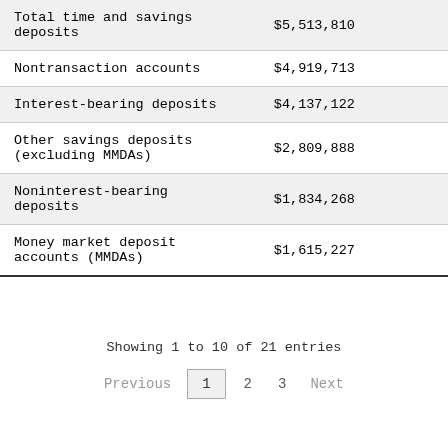|  |  |
| --- | --- |
| Total time and savings deposits | $5,513,810 |
| Nontransaction accounts | $4,919,713 |
| Interest-bearing deposits | $4,137,122 |
| Other savings deposits (excluding MMDAs) | $2,809,888 |
| Noninterest-bearing deposits | $1,834,268 |
| Money market deposit accounts (MMDAs) | $1,615,227 |
Showing 1 to 10 of 21 entries
Previous 1 2 3 Next